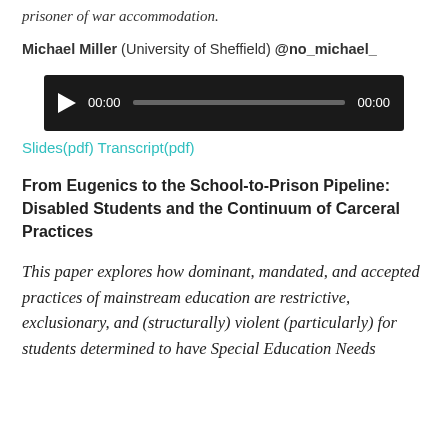prisoner of war accommodation.
Michael Miller (University of Sheffield) @no_michael_
[Figure (other): Audio player with play button, time display 00:00, progress bar, and end time 00:00 on dark background]
Slides(pdf) Transcript(pdf)
From Eugenics to the School-to-Prison Pipeline: Disabled Students and the Continuum of Carceral Practices
This paper explores how dominant, mandated, and accepted practices of mainstream education are restrictive, exclusionary, and (structurally) violent (particularly) for students determined to have Special Education Needs